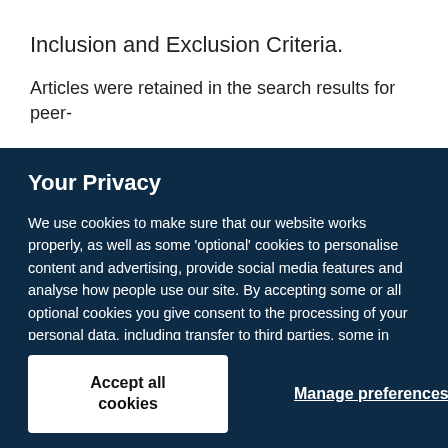Inclusion and Exclusion Criteria.
Articles were retained in the search results for peer-
Your Privacy
We use cookies to make sure that our website works properly, as well as some ‘optional’ cookies to personalise content and advertising, provide social media features and analyse how people use our site. By accepting some or all optional cookies you give consent to the processing of your personal data, including transfer to third parties, some in countries outside of the European Economic Area that do not offer the same data protection standards as the country where you live. You can decide which optional cookies to accept by clicking on ‘Manage Settings’, where you can also find more information about how your personal data is processed. Further information can be found in our privacy policy.
Accept all cookies
Manage preferences